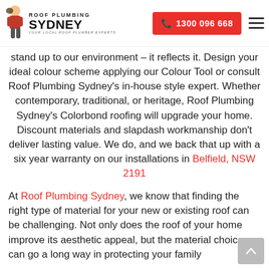Roof Plumbing Sydney | 1300 096 668
stand up to our environment – it reflects it. Design your ideal colour scheme applying our Colour Tool or consult Roof Plumbing Sydney's in-house style expert. Whether contemporary, traditional, or heritage, Roof Plumbing Sydney's Colorbond roofing will upgrade your home. Discount materials and slapdash workmanship don't deliver lasting value. We do, and we back that up with a six year warranty on our installations in Belfield, NSW 2191
At Roof Plumbing Sydney, we know that finding the right type of material for your new or existing roof can be challenging. Not only does the roof of your home improve its aesthetic appeal, but the material choice can go a long way in protecting your family